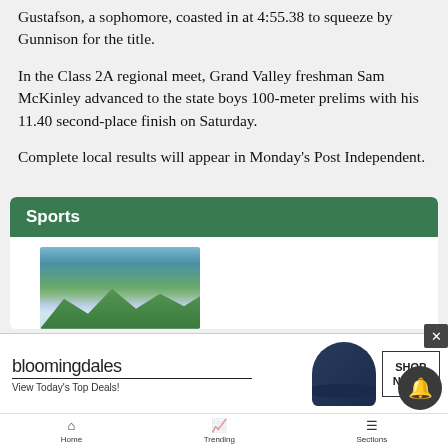Gustafson, a sophomore, coasted in at 4:55.38 to squeeze by Gunnison for the title.
In the Class 2A regional meet, Grand Valley freshman Sam McKinley advanced to the state boys 100-meter prelims with his 11.40 second-place finish on Saturday.
Complete local results will appear in Monday's Post Independent.
Sports
[Figure (photo): Outdoor nature photo showing trees and mountains/water in background]
[Figure (screenshot): Bloomingdale's advertisement: 'View Today's Top Deals! SHOP NOW >']